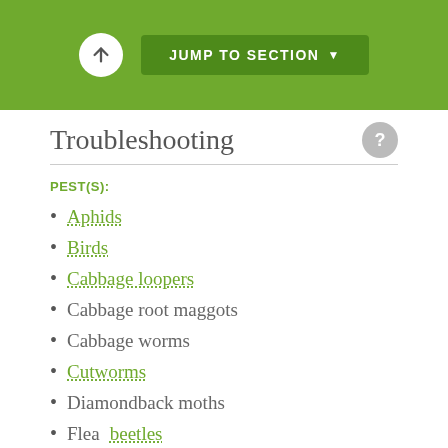JUMP TO SECTION
Troubleshooting
PEST(S):
Aphids
Birds
Cabbage loopers
Cabbage root maggots
Cabbage worms
Cutworms
Diamondback moths
Flea beetles
Harlequin bugs
Leafhoppers